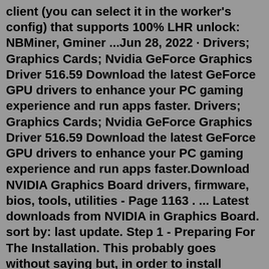client (you can select it in the worker's config) that supports 100% LHR unlock: NBMiner, Gminer ...Jun 28, 2022 · Drivers; Graphics Cards; Nvidia GeForce Graphics Driver 516.59 Download the latest GeForce GPU drivers to enhance your PC gaming experience and run apps faster. Drivers; Graphics Cards; Nvidia GeForce Graphics Driver 516.59 Download the latest GeForce GPU drivers to enhance your PC gaming experience and run apps faster.Download NVIDIA Graphics Board drivers, firmware, bios, tools, utilities - Page 1163 . ... Latest downloads from NVIDIA in Graphics Board. sort by: last update. Step 1 - Preparing For The Installation. This probably goes without saying but, in order to install drivers for your GPU, you first need to have the executable files on your PC. The best way to get the latest NVIDIA software (or specific drivers) is to go to NVIDIA's website. In this step, we're looking at the driver installation via the ...Step 4: Download the latest version of graphics driver and install it on your computer. 4.1 On download page, click Download